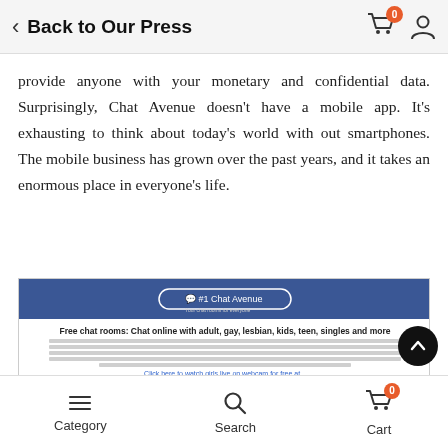Back to Our Press
provide anyone with your monetary and confidential data. Surprisingly, Chat Avenue doesn't have a mobile app. It's exhausting to think about today's world with out smartphones. The mobile business has grown over the past years, and it takes an enormous place in everyone's life.
[Figure (screenshot): Screenshot of the #1 Chat Avenue website showing free chat rooms for adult, gay, lesbian, kids, teen, singles and more, with category links and chat room buttons]
Category  Search  Cart